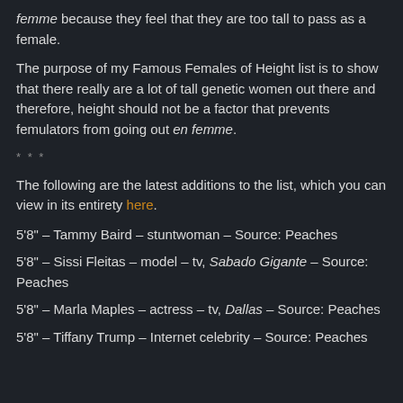femme because they feel that they are too tall to pass as a female.
The purpose of my Famous Females of Height list is to show that there really are a lot of tall genetic women out there and therefore, height should not be a factor that prevents femulators from going out en femme.
* * *
The following are the latest additions to the list, which you can view in its entirety here.
5'8" – Tammy Baird – stuntwoman – Source: Peaches
5'8" – Sissi Fleitas – model – tv, Sabado Gigante – Source: Peaches
5'8" – Marla Maples – actress – tv, Dallas – Source: Peaches
5'8" – Tiffany Trump – Internet celebrity – Source: Peaches